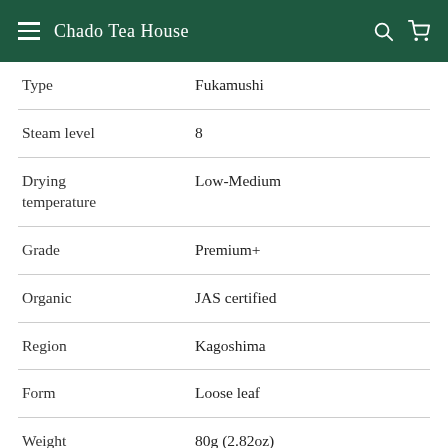Chado Tea House
| Type | Fukamushi |
| Steam level | 8 |
| Drying temperature | Low-Medium |
| Grade | Premium+ |
| Organic | JAS certified |
| Region | Kagoshima |
| Form | Loose leaf |
| Weight | 80g (2.82oz) |
| Note | Rich and deep, nice organic … |